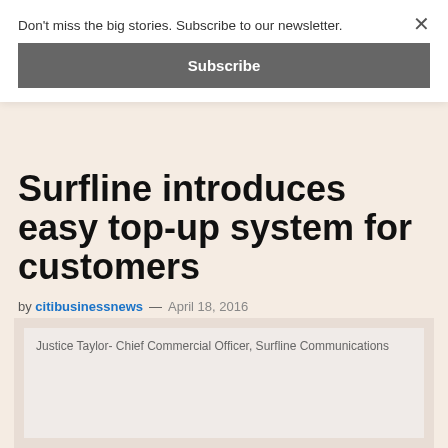Don't miss the big stories. Subscribe to our newsletter.
Subscribe
Surfline introduces easy top-up system for customers
by citibusinessnews — April 18, 2016
[Figure (photo): Justice Taylor- Chief Commercial Officer, Surfline Communications]